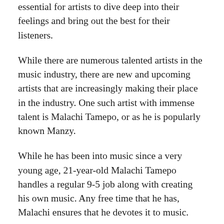essential for artists to dive deep into their feelings and bring out the best for their listeners.
While there are numerous talented artists in the music industry, there are new and upcoming artists that are increasingly making their place in the industry. One such artist with immense talent is Malachi Tamepo, or as he is popularly known Manzy.
While he has been into music since a very young age, 21-year-old Malachi Tamepo handles a regular 9-5 job along with creating his own music. Any free time that he has, Malachi ensures that he devotes it to music.
Malachi recently released his latest single, an emotional rollercoaster song, Dear Future Me and will be releasing EP and Love Can Hurt Pt. 1. He also plans to release Love Can Hurt Pt. 2 and Love Can Hurt Pt. 3 in the next two years.
From looking at music as a form of enjoyment to creating beats for artists, Malachi has come a long way. As years went by,